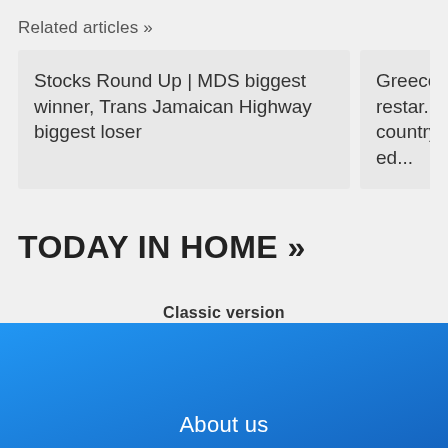Related articles »
Stocks Round Up | MDS biggest winner, Trans Jamaican Highway biggest loser
Greece restar... country on ed...
TODAY IN HOME »
Classic version
Powered by marfeel
About us